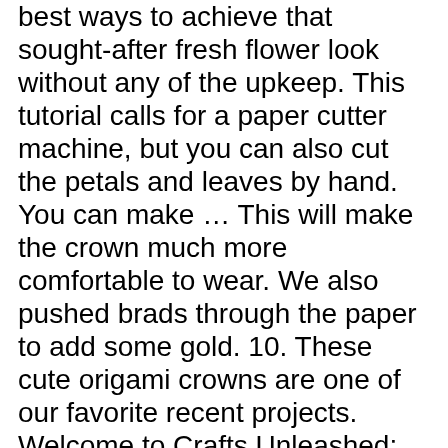best ways to achieve that sought-after fresh flower look without any of the upkeep. This tutorial calls for a paper cutter machine, but you can also cut the petals and leaves by hand. You can make … This will make the crown much more comfortable to wear. We also pushed brads through the paper to add some gold. 10. These cute origami crowns are one of our favorite recent projects. Welcome to Crafts Unleashed: The ideas and inspiration department of ConsumerCrafts.com! Feel free to cater the crown to your liking, and don't be afraid to experiment with flower color and symmetry. The internet can supply a plethora of cheesy Christmas jokes. In this video tutorial, viewers learn how to fold a paper hat. Take one ear loop and make a knot as close as possible to the corners of the mask; repeat on the other side. He decided he needed a welding cap. This craft tutorial shows you how to decorate and assemble the templates into easy-to-make paper crowns. I got the idea for a paper bag tiara after making our paper bag nests the other day. VIEW IN GALLERY. It would be the perfect accompaniment to a Fairy or Renaissance costume. Do-it-yourself about the...